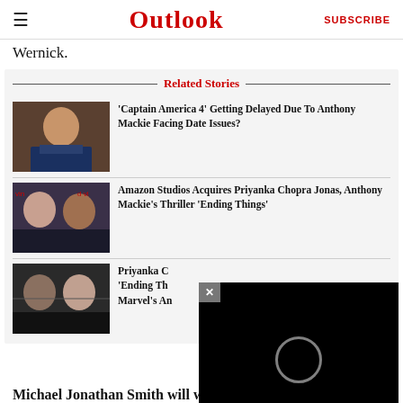Outlook | SUBSCRIBE
Wernick.
Related Stories
'Captain America 4' Getting Delayed Due To Anthony Mackie Facing Date Issues?
Amazon Studios Acquires Priyanka Chopra Jonas, Anthony Mackie's Thriller 'Ending Things'
Priyanka C... 'Ending Th... Marvel's An...
Michael Jonathan Smith will write and executive